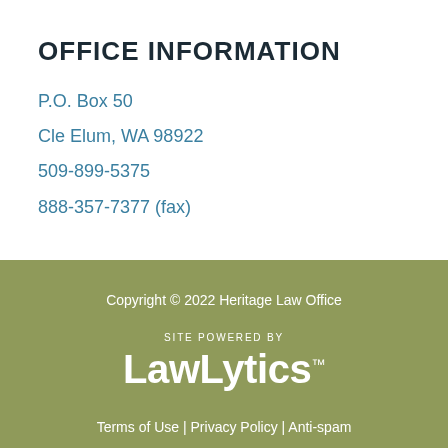OFFICE INFORMATION
P.O. Box 50
Cle Elum, WA 98922
509-899-5375
888-357-7377 (fax)
Copyright © 2022 Heritage Law Office
SITE POWERED BY LawLytics™
Terms of Use | Privacy Policy | Anti-spam